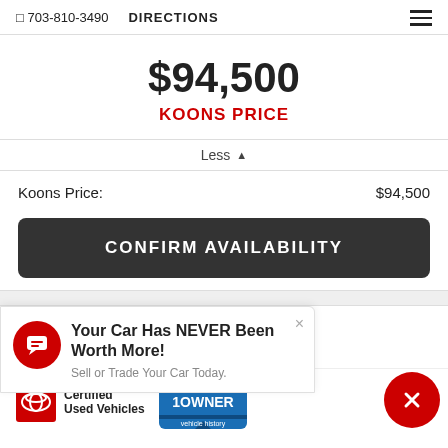703-810-3490  DIRECTIONS
$94,500
KOONS PRICE
Less ▲
Koons Price:  $94,500
CONFIRM AVAILABILITY
Your Car Has NEVER Been Worth More!
Sell or Trade Your Car Today.
[Figure (logo): Toyota Certified Used Vehicles logo with red background]
[Figure (logo): CARFAX 1 Owner badge in blue]